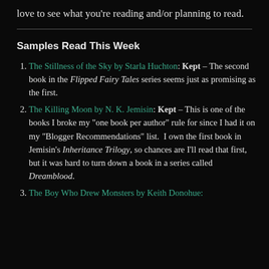love to see what you're reading and/or planning to read.
Samples Read This Week
The Stillness of the Sky by Starla Huchton: Kept – The second book in the Flipped Fairy Tales series seems just as promising as the first.
The Killing Moon by N. K. Jemisin: Kept – This is one of the books I broke my "one book per author" rule for since I had it on my "Blogger Recommendations" list. I own the first book in Jemisin's Inheritance Trilogy, so chances are I'll read that first, but it was hard to turn down a book in a series called Dreamblood.
The Boy Who Drew Monsters by Keith Donohue: